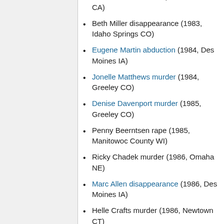Kashell Ward murder (1983, Red Bluff CA)
Beth Miller disappearance (1983, Idaho Springs CO)
Eugene Martin abduction (1984, Des Moines IA)
Jonelle Matthews murder (1984, Greeley CO)
Denise Davenport murder (1985, Greeley CO)
Penny Beerntsen rape (1985, Manitowoc County WI)
Ricky Chadek murder (1986, Omaha NE)
Marc Allen disappearance (1986, Des Moines IA)
Helle Crafts murder (1986, Newtown CT)
Gary Lauwers murder (1987, Northport NY)